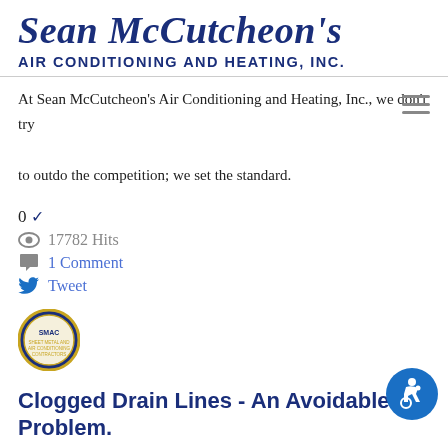Sean McCutcheon's Air Conditioning and Heating, Inc.
At Sean McCutcheon's Air Conditioning and Heating, Inc., we don't try to outdo the competition; we set the standard.
0 ✓
17782 Hits
1 Comment
Tweet
[Figure (logo): SMAC circular badge/logo]
Clogged Drain Lines - An Avoidable Problem.
Sunday, 10 May 2015
[Figure (illustration): Accessibility icon button - blue circle with wheelchair user symbol]